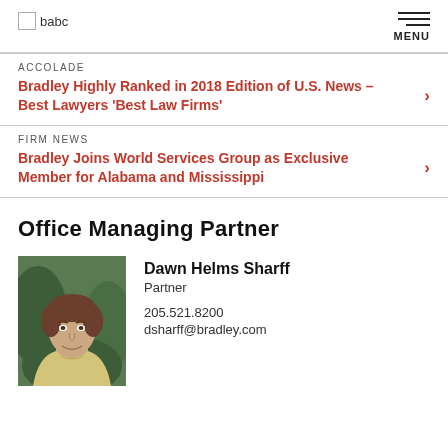babc | MENU
ACCOLADE
Bradley Highly Ranked in 2018 Edition of U.S. News – Best Lawyers 'Best Law Firms'
FIRM NEWS
Bradley Joins World Services Group as Exclusive Member for Alabama and Mississippi
Office Managing Partner
[Figure (photo): Headshot photo of Dawn Helms Sharff, a woman with short brown hair, smiling, wearing a light-colored top, photographed outdoors with greenery in background.]
Dawn Helms Sharff
Partner
205.521.8200
dsharff@bradley.com